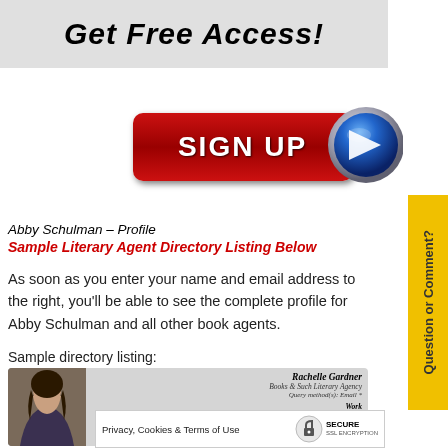Get Free Access!
[Figure (infographic): Red SIGN UP button with blue arrow circle]
Abby Schulman – Profile
Sample Literary Agent Directory Listing Below
As soon as you enter your name and email address to the right, you'll be able to see the complete profile for Abby Schulman and all other book agents.
Sample directory listing:
[Figure (screenshot): Sample literary agent directory listing for Rachelle Gardner, Books & Such Literary Agency, with photo]
Privacy, Cookies & Terms of Use
[Figure (logo): Secure SSL Encryption badge]
Question or Comment?